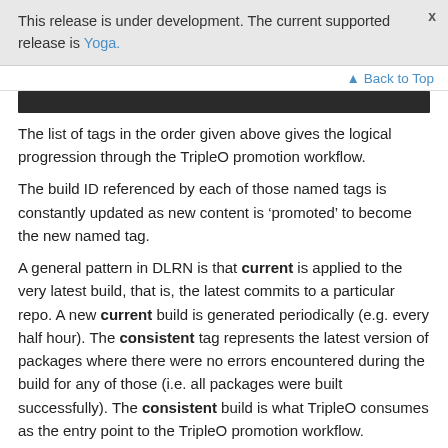This release is under development. The current supported release is Yoga.
Back to Top
[Figure (screenshot): Dark screenshot/image bar at top of content area]
The list of tags in the order given above gives the logical progression through the TripleO promotion workflow.
The build ID referenced by each of those named tags is constantly updated as new content is ‘promoted’ to become the new named tag.
A general pattern in DLRN is that current is applied to the very latest build, that is, the latest commits to a particular repo. A new current build is generated periodically (e.g. every half hour). The consistent tag represents the latest version of packages where there were no errors encountered during the build for any of those (i.e. all packages were built successfully). The consistent build is what TripleO consumes as the entry point to the TripleO promotion workflow.
One last point to be made about RDO DLRN is that after the TripleO promotion CI jobs are executed against a particular DLRN